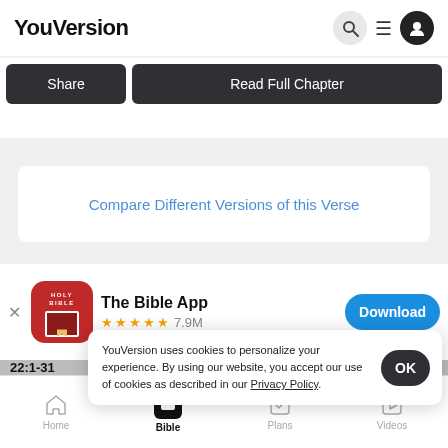YouVersion
Share | Read Full Chapter
Compare Different Versions of this Verse
[Figure (screenshot): The Bible App icon - red background with HOLY BIBLE text and book icon]
The Bible App ★★★★★ 7.9M
Download
22:1-31
YouVersion uses cookies to personalize your experience. By using our website, you accept our use of cookies as described in our Privacy Policy.
OK
Home | Bible | Plans | Videos